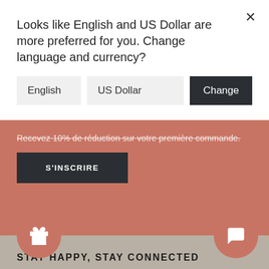Looks like English and US Dollar are more preferred for you. Change language and currency?
English   US Dollar   Change
Recevez 10% de réduction sur votre première commande.
S'INSCRIRE
STAY HAPPY, STAY CONNECTED
[Figure (infographic): Social media icons: Instagram, Facebook, YouTube, Pinterest, TikTok]
S...E CLIENTÈLE